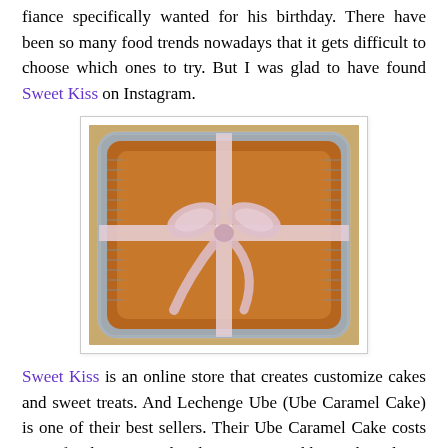fiance specifically wanted for his birthday. There have been so many food trends nowadays that it gets difficult to choose which ones to try. But I was glad to have found Sweet Kiss on Instagram.
[Figure (photo): A rectangular aluminium foil tray containing a brown caramel cake, tied with a pink/white satin ribbon bow on top, viewed from above.]
Sweet Kiss is an online store that creates customize cakes and sweet treats. And Lechenge Ube (Ube Caramel Cake) is one of their best sellers. Their Ube Caramel Cake costs P690 for the rectangular shape 8x12" and heart-shaped at 7 inches for P590.